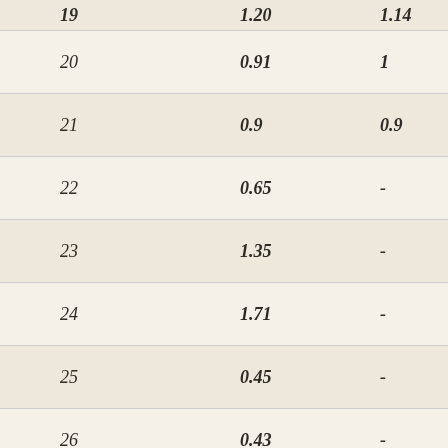|  |  |  |
| --- | --- | --- |
| 19 | 1.20 | 1.14 |
| 20 | 0.91 | 1 |
| 21 | 0.9 | 0.9 |
| 22 | 0.65 | - |
| 23 | 1.35 | - |
| 24 | 1.71 | - |
| 25 | 0.45 | - |
| 26 | 0.43 | - |
| 27 | 0.43 |  |